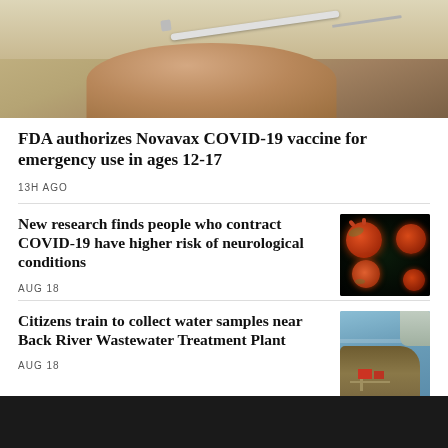[Figure (photo): Close-up photo of a hand holding a syringe/needle, warm background]
FDA authorizes Novavax COVID-19 vaccine for emergency use in ages 12-17
13H AGO
New research finds people who contract COVID-19 have higher risk of neurological conditions
[Figure (photo): Microscopic image of COVID-19 virus particles, dark background with red/yellow spherical cells]
AUG 18
Citizens train to collect water samples near Back River Wastewater Treatment Plant
[Figure (photo): Aerial photo of Back River Wastewater Treatment Plant near water]
AUG 18